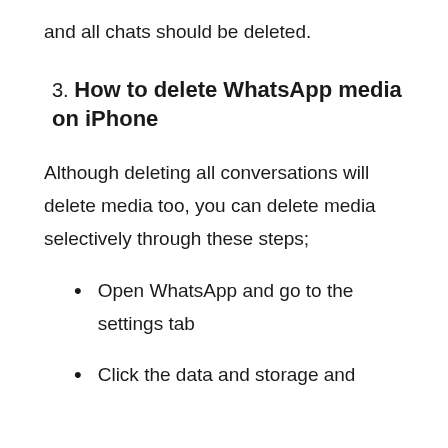and all chats should be deleted.
3. How to delete WhatsApp media on iPhone
Although deleting all conversations will delete media too, you can delete media selectively through these steps;
Open WhatsApp and go to the settings tab
Click the data and storage and